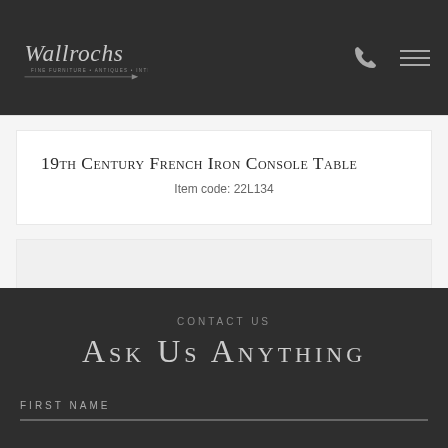Wallrochs - Fine Furniture + Antiques + Interiors
19th Century French Iron Console Table
Item code: 22L134
CONTACT US
ASK US ANYTHING
FIRST NAME